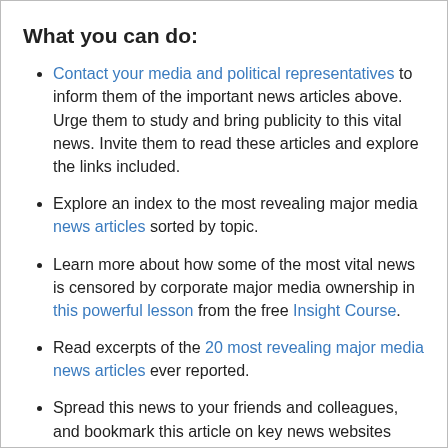What you can do:
Contact your media and political representatives to inform them of the important news articles above. Urge them to study and bring publicity to this vital news. Invite them to read these articles and explore the links included.
Explore an index to the most revealing major media news articles sorted by topic.
Learn more about how some of the most vital news is censored by corporate major media ownership in this powerful lesson from the free Insight Course.
Read excerpts of the 20 most revealing major media news articles ever reported.
Spread this news to your friends and colleagues, and bookmark this article on key news websites using the "Share" icon on this page, so that we can fill the role at which the